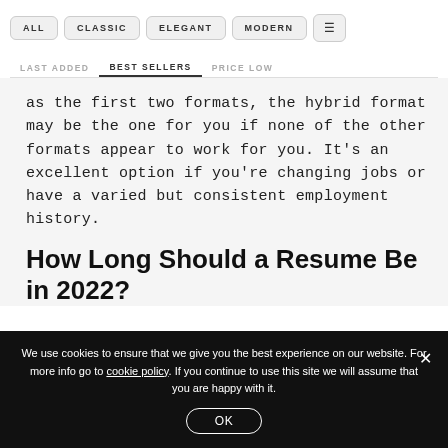ALL  CLASSIC  ELEGANT  MODERN  [menu]
LAST ADDED  BEST SELLERS  PRICE LOW
as the first two formats, the hybrid format may be the one for you if none of the other formats appear to work for you. It's an excellent option if you're changing jobs or have a varied but consistent employment history.
How Long Should a Resume Be in 2022?
We use cookies to ensure that we give you the best experience on our website. For more info go to cookie policy. If you continue to use this site we will assume that you are happy with it.
OK